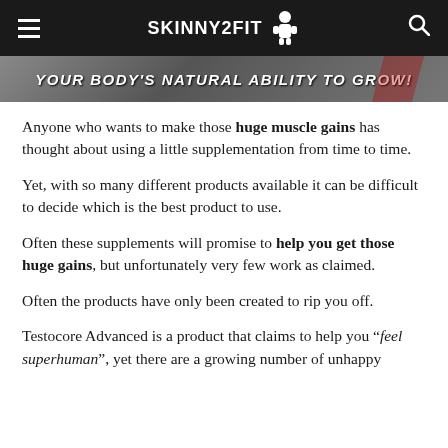SKINNY2FIT (website navigation bar)
[Figure (illustration): Dark banner image with bold italic white text reading: YOUR BODY'S NATURAL ABILITY TO GROW!]
Anyone who wants to make those huge muscle gains has thought about using a little supplementation from time to time.
Yet, with so many different products available it can be difficult to decide which is the best product to use.
Often these supplements will promise to help you get those huge gains, but unfortunately very few work as claimed.
Often the products have only been created to rip you off.
Testocore Advanced is a product that claims to help you “feel superhuman”, yet there are a growing number of unhappy